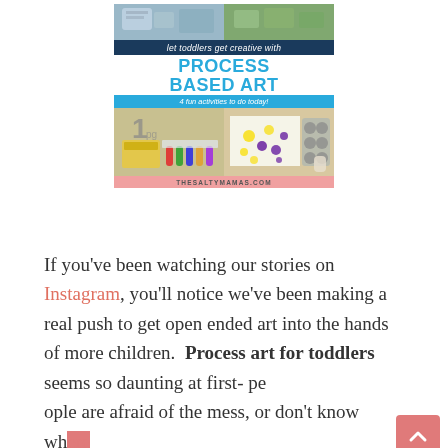[Figure (illustration): Promotional image for 'Process Based Art for Toddlers' from thesaltymamas.com, showing craft supplies and children doing art activities, with text overlays 'let toddlers get creative with PROCESS BASED ART' and '4 fun activities to do today!']
If you've been watching our stories on Instagram, you'll notice we've been making a real push to get open ended art into the hands of more children.  Process art for toddlers seems so daunting at first- people are afraid of the mess, or don't know where to start, but they don't have to be.